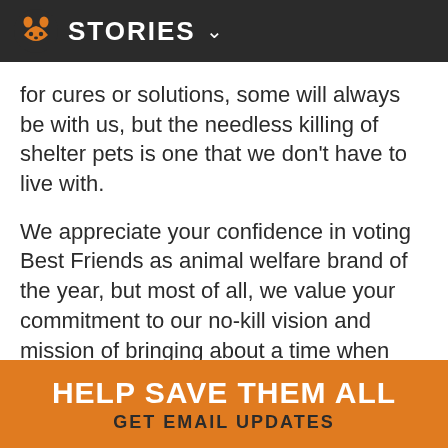STORIES
for cures or solutions, some will always be with us, but the needless killing of shelter pets is one that we don't have to live with.
We appreciate your confidence in voting Best Friends as animal welfare brand of the year, but most of all, we value your commitment to our no-kill vision and mission of bringing about a time when there are no more homeless pets.
Categories:
No-Kill 2025
HELP SAVE THEM ALL
GET EMAIL UPDATES